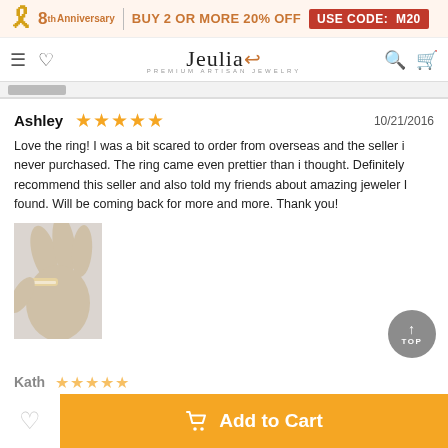8th Anniversary | BUY 2 OR MORE 20% OFF USE CODE: M20
Jeulia - PREMIUM ARTISAN JEWELRY
Ashley ★★★★★ 10/21/2016
Love the ring! I was a bit scared to order from overseas and the seller i never purchased. The ring came even prettier than i thought. Definitely recommend this seller and also told my friends about amazing jeweler I found. Will be coming back for more and more. Thank you!
[Figure (photo): Hand wearing a diamond/crystal ring against white background]
Add to Cart